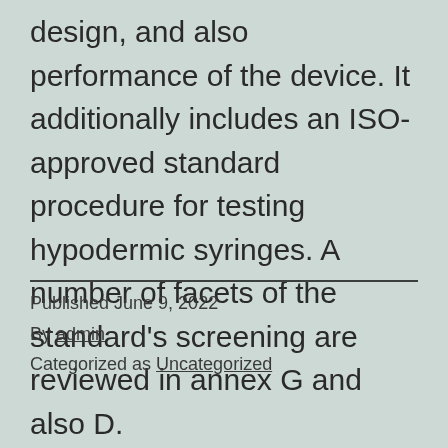design, and also performance of the device. It additionally includes an ISO-approved standard procedure for testing hypodermic syringes. A number of facets of the standard's screening are reviewed in annex G and also D.
Published June 9, 2022
By admin
Categorized as Uncategorized